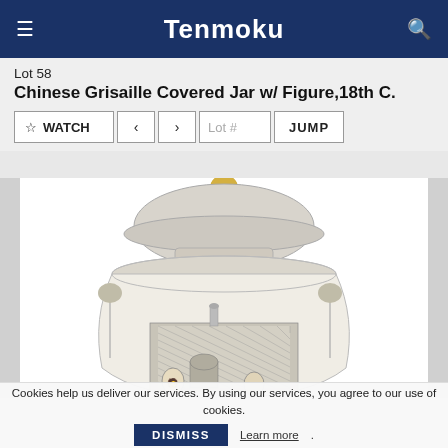Tenmoku
Lot 58
Chinese Grisaille Covered Jar w/ Figure, 18th C.
[Figure (photo): Photograph of a Chinese Grisaille Covered Jar with figure scenes, 18th century. The jar has a domed lid with a gold knob, and the body is decorated with grisaille painting depicting architectural scenes and figures.]
Cookies help us deliver our services. By using our services, you agree to our use of cookies.